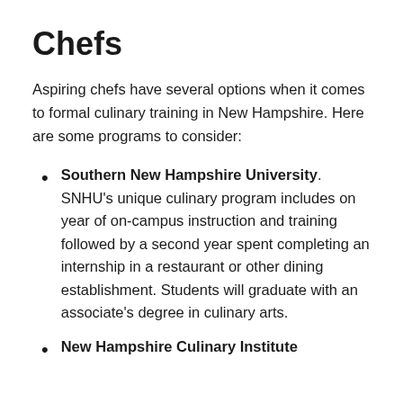Chefs
Aspiring chefs have several options when it comes to formal culinary training in New Hampshire. Here are some programs to consider:
Southern New Hampshire University. SNHU's unique culinary program includes on year of on-campus instruction and training followed by a second year spent completing an internship in a restaurant or other dining establishment. Students will graduate with an associate's degree in culinary arts.
New Hampshire Culinary Institute